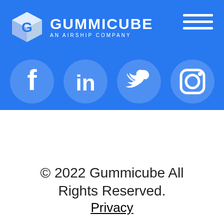[Figure (logo): Gummicube logo with 3D cube icon, text GUMMICUBE AN AIRSHIP COMPANY in white on blue background, with hamburger menu icon. Social media icons: Facebook, LinkedIn, Twitter, Instagram shown in white on blue.]
© 2022 Gummicube All Rights Reserved.
Privacy